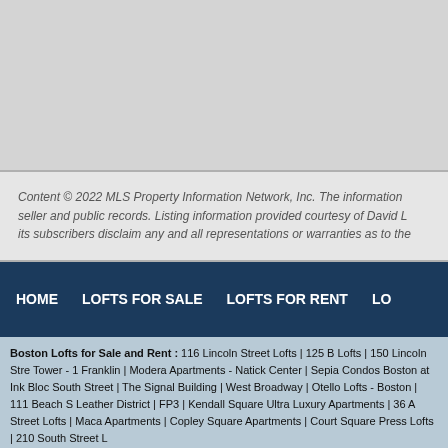Content © 2022 MLS Property Information Network, Inc. The information seller and public records. Listing information provided courtesy of David L its subscribers disclaim any and all representations or warranties as to the
HOME   LOFTS FOR SALE   LOFTS FOR RENT   LO
Boston Lofts for Sale and Rent : 116 Lincoln Street Lofts | 125 B Lofts | 150 Lincoln Stre Tower - 1 Franklin | Modera Apartments - Natick Center | Sepia Condos Boston at Ink Bloc South Street | The Signal Building | West Broadway | Otello Lofts - Boston | 111 Beach S Leather District | FP3 | Kendall Square Ultra Luxury Apartments | 36 A Street Lofts | Maca Apartments | Copley Square Apartments | Court Square Press Lofts | 210 South Street L
Boston Lofts | Boston Lofts
Other Specialty Websites by LRG : Boston Condos | Quincy Condos | Boston Real Estate
Site Map | Privacy Policy | Terms and Conditions | ©